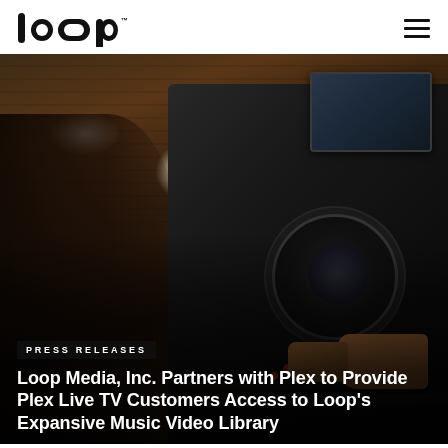loop
[Figure (photo): A film camera rig with monitor being held, dark cinematic setting with warm bokeh lights and wooden plank background]
PRESS RELEASES
Loop Media, Inc. Partners with Plex to Provide Plex Live TV Customers Access to Loop's Expansive Music Video Library